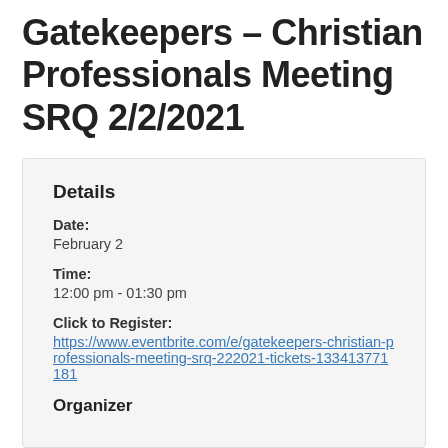Gatekeepers – Christian Professionals Meeting SRQ 2/2/2021
Details
Date:
February 2
Time:
12:00 pm - 01:30 pm
Click to Register:
https://www.eventbrite.com/e/gatekeepers-christian-professionals-meeting-srq-222021-tickets-133413771181
Organizer